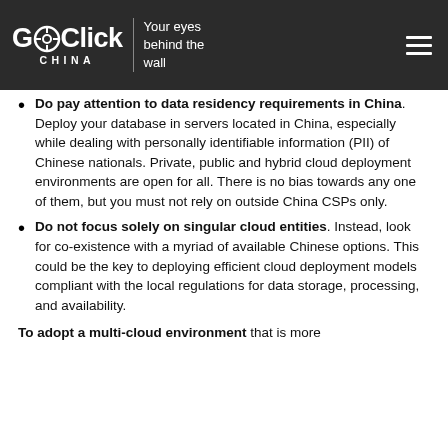GoClick China — Your eyes behind the wall
Do pay attention to data residency requirements in China. Deploy your database in servers located in China, especially while dealing with personally identifiable information (PII) of Chinese nationals. Private, public and hybrid cloud deployment environments are open for all. There is no bias towards any one of them, but you must not rely on outside China CSPs only.
Do not focus solely on singular cloud entities. Instead, look for co-existence with a myriad of available Chinese options. This could be the key to deploying efficient cloud deployment models compliant with the local regulations for data storage, processing, and availability.
To adopt a multi-cloud environment that is more